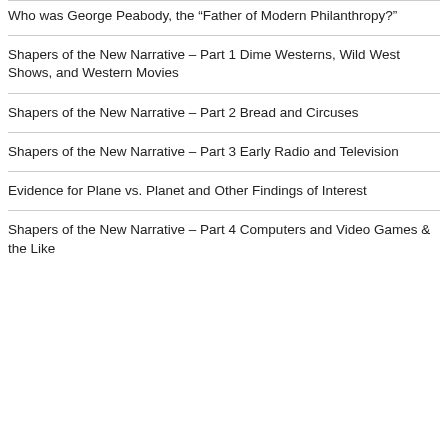Who was George Peabody, the “Father of Modern Philanthropy?”
Shapers of the New Narrative – Part 1 Dime Westerns, Wild West Shows, and Western Movies
Shapers of the New Narrative – Part 2 Bread and Circuses
Shapers of the New Narrative – Part 3 Early Radio and Television
Evidence for Plane vs. Planet and Other Findings of Interest
Shapers of the New Narrative – Part 4 Computers and Video Games & the Like